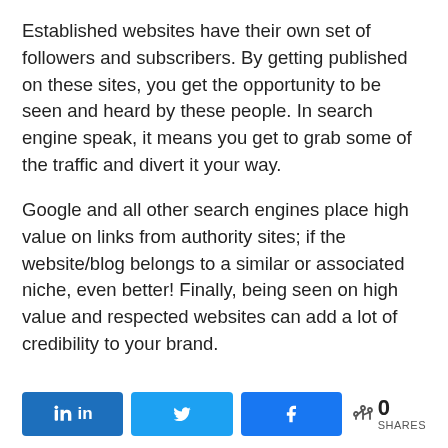Established websites have their own set of followers and subscribers. By getting published on these sites, you get the opportunity to be seen and heard by these people. In search engine speak, it means you get to grab some of the traffic and divert it your way.
Google and all other search engines place high value on links from authority sites; if the website/blog belongs to a similar or associated niche, even better! Finally, being seen on high value and respected websites can add a lot of credibility to your brand.
Yes, Guest Blogging involves a lot of work, but
[Figure (other): Social share buttons bar with LinkedIn (blue), Twitter (light blue), Facebook (blue) buttons and a share count showing 0 SHARES]